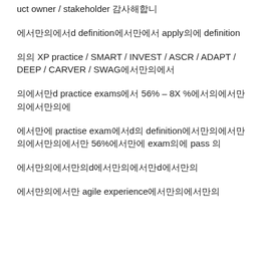uct owner / stakeholder 에게서
정의에서만d definition에서만 apply의 definition
의 XP practice / SMART / INVEST / ASCR / ADAPT / DEEP / CARVER / SWAG에서만의
의에서만d practice exams에서만 56% – 8X %에서만의에서만의에서만
에서만 practise exam에서만d 의definition에서만의에서만의에서만의에서만 56%에서만의에서만 exam의 pass 의
에서만의에서만의d 에서만의에서만의d 에서만의
에서만의에서만 agile experience 에서만의에서만의